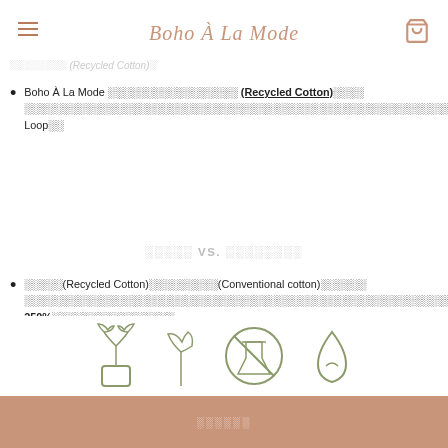Boho À La Mode
(Recycled Cotton)
Boho À La Mode ░░░░░░░░░░░░░░░░░ (Recycled Cotton)░░░░░░░░░░░░░░░░░░░░░░░░░░░░░░░░░░░░░░░░░░░░░░░░░░░░░░░░░░░░░░░░░░░░░░░░░░░░░░░Closed-Loop░░
░░░░░ VS. ░░░░░░░░
░░░░░(Recycled Cotton)░░░░░░░░░(Conventional cotton)░░░░░░░░░░░░░░░░░░░░░░░░░░░░░░░░░░░░░░░░░░░░░░░░░░░░░░░░░░░░░░░░░░░░░░░░░░░░░░░░░░░░░░░░░░░░░200-250%░░░░░░░░░░░░░░
[Figure (illustration): Row of sustainability icons: plant in pot, seedling, no-chemicals symbol, water drop leaf]
░░░░░░